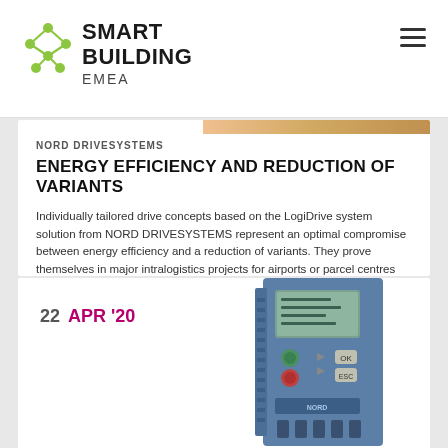[Figure (logo): Smart Building EMEA logo with green network node icon and bold black text]
NORD DRIVESYSTEMS
ENERGY EFFICIENCY AND REDUCTION OF VARIANTS
Individually tailored drive concepts based on the LogiDrive system solution from NORD DRIVESYSTEMS represent an optimal compromise between energy efficiency and a reduction of variants. They prove themselves in major intralogistics projects for airports or parcel centres where a large number of drive units are installed.
Read more...
22  APR '20
[Figure (photo): Blue industrial motor drive / frequency inverter device with display panel and control buttons]